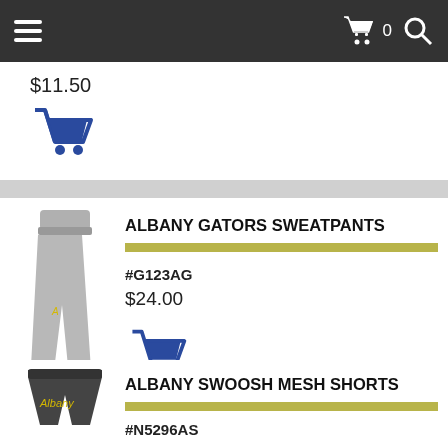Navigation bar with menu, cart (0), and search icons
$11.50
[Figure (illustration): Blue shopping cart icon]
ALBANY GATORS SWEATPANTS
#G123AG
$24.00
[Figure (illustration): Blue shopping cart icon]
[Figure (photo): Gray sweatpants with yellow Albany Gators logo]
ALBANY SWOOSH MESH SHORTS
#N5296AS
[Figure (photo): Dark gray mesh shorts with yellow Albany script logo]